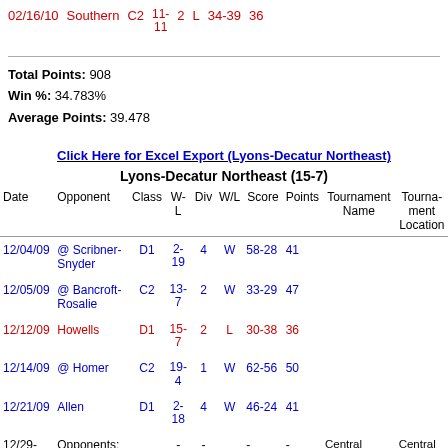02/16/10  Southern  C2  11-11  2  L  34-39  36
Total Points: 908
Win %: 34.783%
Average Points: 39.478
Click Here for Excel Export (Lyons-Decatur Northeast)
Lyons-Decatur Northeast (15-7)
| Date | Opponent | Class | W-L | Div | W/L | Score | Points | Tournament Name | Tournament Location |
| --- | --- | --- | --- | --- | --- | --- | --- | --- | --- |
| 12/04/09 | @ Scribner-Snyder | D1 | 2-19 | 4 | W | 58-28 | 41 |  |  |
| 12/05/09 | @ Bancroft-Rosalie | C2 | 13-7 | 2 | W | 33-29 | 47 |  |  |
| 12/12/09 | Howells | D1 | 15-7 | 2 | L | 30-38 | 36 |  |  |
| 12/14/09 | @ Homer | C2 | 19-4 | 1 | W | 62-56 | 50 |  |  |
| 12/21/09 | Allen | D1 | 2-18 | 4 | W | 46-24 | 41 |  |  |
| 12/29-12/30 | Opponents: |  | - | - |  | - | - | Central Catholic Holiday Tournament (West Point) | Central Catholic |
|  | West Point |  |  |  |  |  |  | Central Catholic |  |